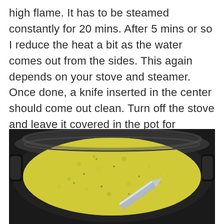high flame. It has to be steamed constantly for 20 mins. After 5 mins or so I reduce the heat a bit as the water comes out from the sides. This again depends on your stove and steamer. Once done, a knife inserted in the center should come out clean. Turn off the stove and leave it covered in the pot for another 5 mins.
[Figure (photo): A top-down view of a steamer pot with a yellow-green batter/dhokla cooking inside. A knife is inserted into the center of the batter to test doneness. The pot has a dark/black rim and handles visible on the sides.]